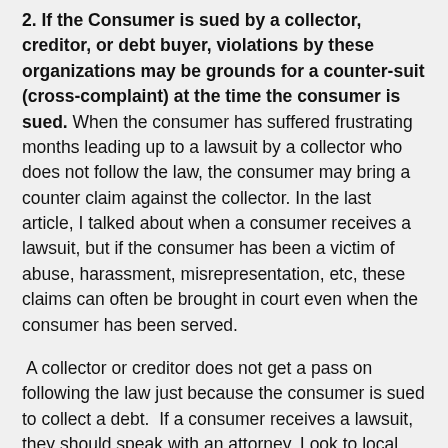2. If the Consumer is sued by a collector, creditor, or debt buyer, violations by these organizations may be grounds for a counter-suit (cross-complaint) at the time the consumer is sued. When the consumer has suffered frustrating months leading up to a lawsuit by a collector who does not follow the law, the consumer may bring a counter claim against the collector. In the last article, I talked about when a consumer receives a lawsuit, but if the consumer has been a victim of abuse, harassment, misrepresentation, etc, these claims can often be brought in court even when the consumer has been served.
A collector or creditor does not get a pass on following the law just because the consumer is sued to collect a debt. If a consumer receives a lawsuit, they should speak with an attorney. Look to local legal aid societies or find a "debt defense" or "consumer law" attorney for help. The consumer must respond to any lawsuit quickly, and if counter-claims are available, they must be filed with the